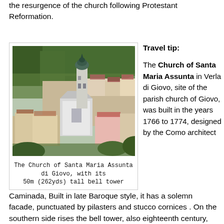the resurgence of the church following Protestant Reformation.
[Figure (photo): Aerial/hillside view of Verla di Giovo village showing the Church of Santa Maria Assunta di Giovo with its tall bell tower topped by an onion dome, surrounded by village buildings and forested hillside]
The Church of Santa Maria Assunta di Giovo, with its 50m (262yds) tall bell tower
Travel tip:

The Church of Santa Maria Assunta in Verla di Giovo, site of the parish church of Giovo, was built in the years 1766 to 1774, designed by the Como architect Caminada, Built in late Baroque style, it has a solemn facade, punctuated by pilasters and stucco cornices . On the southern side rises the bell tower, also eighteenth century,